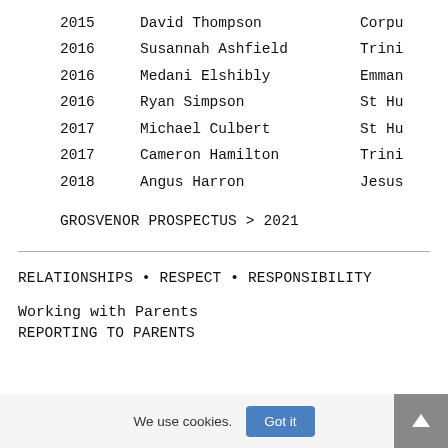| Year | Name | Place |
| --- | --- | --- |
| 2015 | David Thompson | Corpu |
| 2016 | Susannah Ashfield | Trini |
| 2016 | Medani Elshibly | Emman |
| 2016 | Ryan Simpson | St Hu |
| 2017 | Michael Culbert | St Hu |
| 2017 | Cameron Hamilton | Trini |
| 2018 | Angus Harron | Jesus |
GROSVENOR PROSPECTUS > 2021
RELATIONSHIPS • RESPECT • RESPONSIBILITY
Working with Parents
REPORTING TO PARENTS